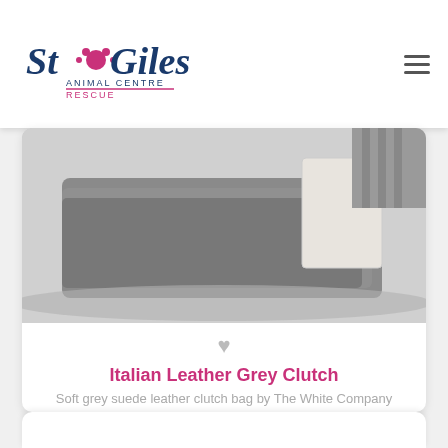My Account   Basket   DONATE
[Figure (logo): St Giles Animal Centre Rescue logo with paw print]
[Figure (photo): Grey suede leather clutch bag product photo showing folded grey fabric and a light tag]
♥
Italian Leather Grey Clutch
Soft grey suede leather clutch bag by The White Company
£25.00